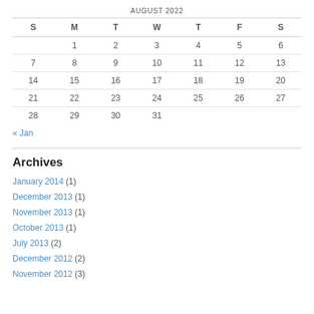| S | M | T | W | T | F | S |
| --- | --- | --- | --- | --- | --- | --- |
|  | 1 | 2 | 3 | 4 | 5 | 6 |
| 7 | 8 | 9 | 10 | 11 | 12 | 13 |
| 14 | 15 | 16 | 17 | 18 | 19 | 20 |
| 21 | 22 | 23 | 24 | 25 | 26 | 27 |
| 28 | 29 | 30 | 31 |  |  |  |
« Jan
Archives
January 2014 (1)
December 2013 (1)
November 2013 (1)
October 2013 (1)
July 2013 (2)
December 2012 (2)
November 2012 (3)